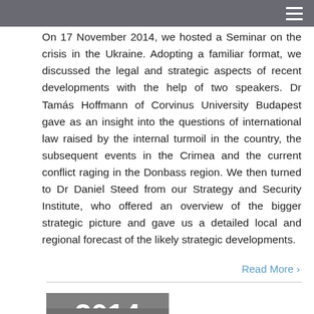On 17 November 2014, we hosted a Seminar on the crisis in the Ukraine. Adopting a familiar format, we discussed the legal and strategic aspects of recent developments with the help of two speakers. Dr Tamás Hoffmann of Corvinus University Budapest gave as an insight into the questions of international law raised by the internal turmoil in the country, the subsequent events in the Crimea and the current conflict raging in the Donbass region. We then turned to Dr Daniel Steed from our Strategy and Security Institute, who offered an overview of the bigger strategic picture and gave us a detailed local and regional forecast of the likely strategic developments.
Read More ›
2014 September